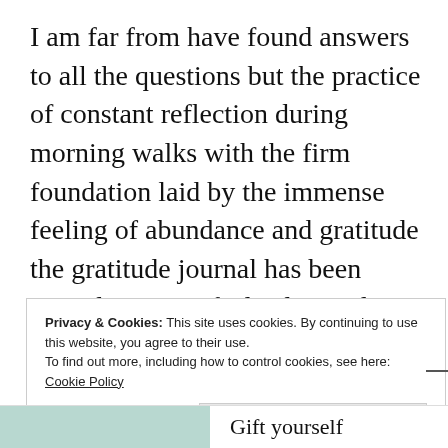I am far from have found answers to all the questions but the practice of constant reflection during morning walks with the firm foundation laid by the immense feeling of abundance and gratitude the gratitude journal has been providing me, I feel calmer, alive and healthier than I have felt in a long time.
Privacy & Cookies: This site uses cookies. By continuing to use this website, you agree to their use.
To find out more, including how to control cookies, see here: Cookie Policy
Close and accept
Gift yourself